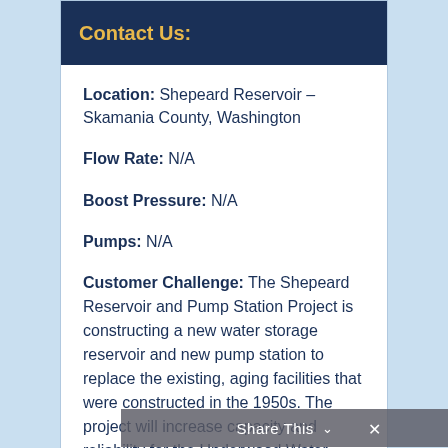Contact Us:
Location: Shepeard Reservoir – Skamania County, Washington
Flow Rate: N/A
Boost Pressure: N/A
Pumps: N/A
Customer Challenge: The Shepeard Reservoir and Pump Station Project is constructing a new water storage reservoir and new pump station to replace the existing, aging facilities that were constructed in the 1950s. The project will increase capacity and reliability for the Underwood Water System as well as improve the water
Share This ∨  ✕